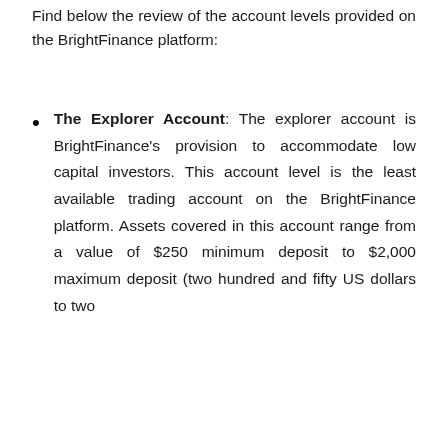Find below the review of the account levels provided on the BrightFinance platform:
The Explorer Account: The explorer account is BrightFinance's provision to accommodate low capital investors. This account level is the least available trading account on the BrightFinance platform. Assets covered in this account range from a value of $250 minimum deposit to $2,000 maximum deposit (two hundred and fifty US dollars to two...